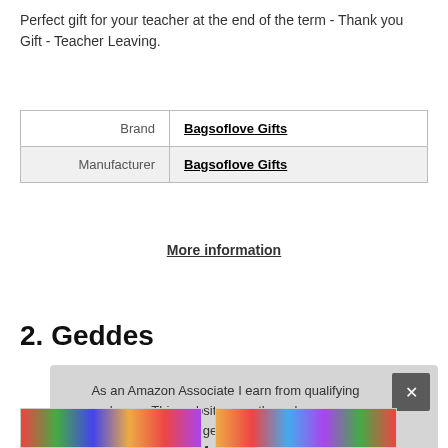Perfect gift for your teacher at the end of the term - Thank you Gift - Teacher Leaving.
| Brand | Bagsoflove Gifts |
| Manufacturer | Bagsoflove Gifts |
More information
2. Geddes
As an Amazon Associate I earn from qualifying purchases. This website uses the only necessary cookies to ensure you get the best experience on our website. More information